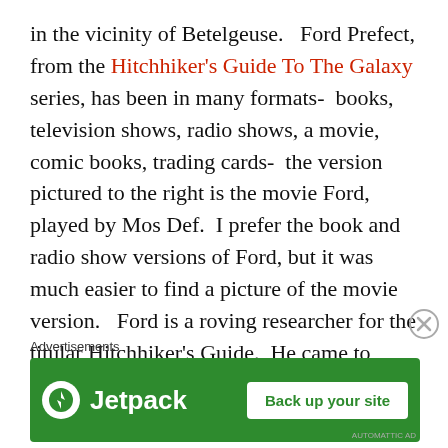in the vicinity of Betelgeuse.   Ford Prefect, from the Hitchhiker's Guide To The Galaxy series, has been in many formats-  books, television shows, radio shows, a movie, comic books, trading cards-  the version pictured to the right is the movie Ford, played by Mos Def.  I prefer the book and radio show versions of Ford, but it was much easier to find a picture of the movie version.   Ford is a roving researcher for the titular Hitchhiker's Guide.  He came to Earth to research it for the book, and got stuck for fifteen years.
Advertisements
[Figure (other): Jetpack advertisement banner with green background, Jetpack logo on left and 'Back up your site' button on right]